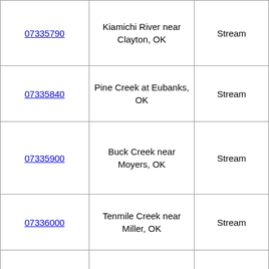| 07335790 | Kiamichi River near Clayton, OK | Stream |
| 07335840 | Pine Creek at Eubanks, OK | Stream |
| 07335900 | Buck Creek near Moyers, OK | Stream |
| 07336000 | Tenmile Creek near Miller, OK | Stream |
| 07336200 | Kiamichi River near Antlers, OK | Stream |
|  | Kiamichi River |  |